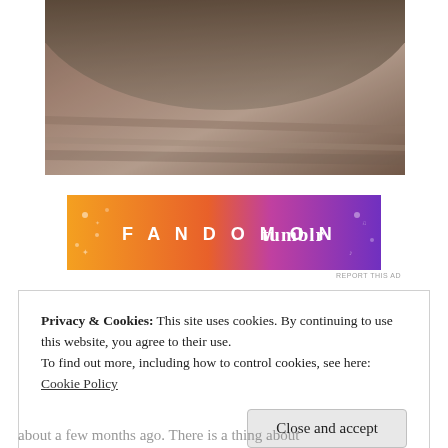[Figure (photo): A close-up blurred photo showing what appears to be a dark rounded object (possibly a vinyl record or bowl) resting on a wooden surface, with dark and light tones.]
[Figure (infographic): A rectangular advertisement banner reading 'FANDOM ON tumblr' with an orange-to-purple gradient background and decorative doodle patterns.]
REPORT THIS AD
Privacy & Cookies: This site uses cookies. By continuing to use this website, you agree to their use.
To find out more, including how to control cookies, see here: Cookie Policy
Close and accept
about a few months ago. There is a thing about